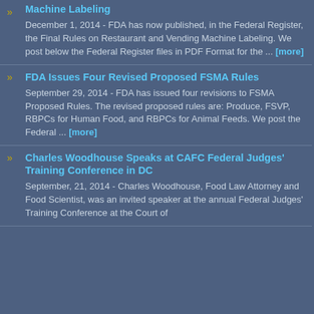Machine Labeling
December 1, 2014 - FDA has now published, in the Federal Register, the Final Rules on Restaurant and Vending Machine Labeling. We post below the Federal Register files in PDF Format for the ... [more]
FDA Issues Four Revised Proposed FSMA Rules
September 29, 2014 - FDA has issued four revisions to FSMA Proposed Rules. The revised proposed rules are: Produce, FSVP, RBPCs for Human Food, and RBPCs for Animal Feeds. We post the Federal ... [more]
Charles Woodhouse Speaks at CAFC Federal Judges' Training Conference in DC
September, 21, 2014 - Charles Woodhouse, Food Law Attorney and Food Scientist, was an invited speaker at the annual Federal Judges' Training Conference at the Court of